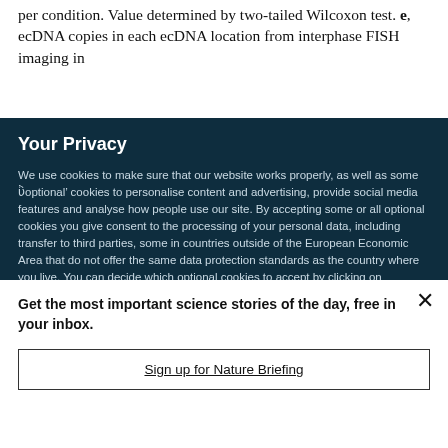per condition. Value determined by two-tailed Wilcoxon test. e, ecDNA copies in each ecDNA location from interphase FISH imaging in
Your Privacy
We use cookies to make sure that our website works properly, as well as some ‘optional’ cookies to personalise content and advertising, provide social media features and analyse how people use our site. By accepting some or all optional cookies you give consent to the processing of your personal data, including transfer to third parties, some in countries outside of the European Economic Area that do not offer the same data protection standards as the country where you live. You can decide which optional cookies to accept by clicking on ‘Manage Settings’, where you can
Get the most important science stories of the day, free in your inbox.
Sign up for Nature Briefing